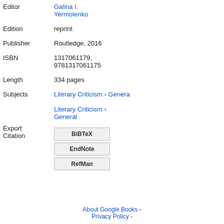| Editor | Galina I. Yermolenko |
| Edition | reprint |
| Publisher | Routledge, 2016 |
| ISBN | 1317061179, 9781317061175 |
| Length | 334 pages |
| Subjects | Literary Criticism › General

Literary Criticism › General |
| Export Citation | BiBTeX / EndNote / RefMan |
About Google Books - Privacy Policy -